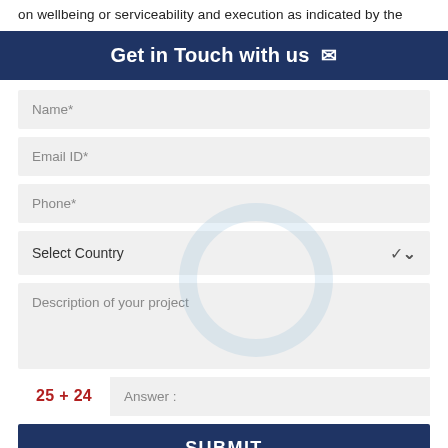on wellbeing or serviceability and execution as indicated by the
Get in Touch with us ✉
Name*
Email ID*
Phone*
Select Country
Description of your project
25 + 24   Answer :
SUBMIT